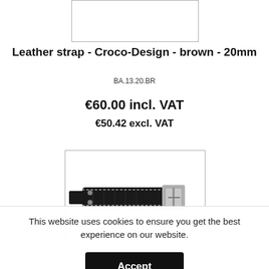[Figure (photo): Top portion of a product image box, partially cut off at the top of the page — white rectangle with border]
Leather strap - Croco-Design - brown - 20mm
BA.13.20.BR
€60.00 incl. VAT
€50.42 excl. VAT
[Figure (photo): Product photo of a dark brown/black leather watch strap with croco design and silver buckle, shown in a bordered white box]
This website uses cookies to ensure you get the best experience on our website.
Accept